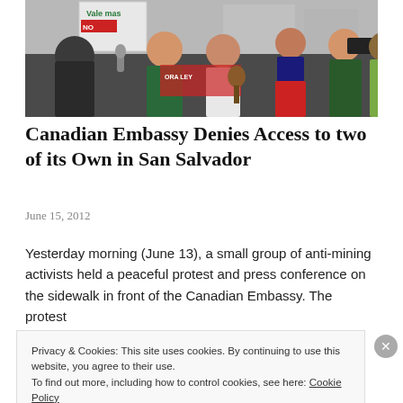[Figure (photo): Outdoor protest scene with several women, one being interviewed by a reporter holding a microphone, with protesters and camera crews visible in the background. Signs in background read 'Vale mas'.]
Canadian Embassy Denies Access to two of its Own in San Salvador
June 15, 2012
Yesterday morning (June 13), a small group of anti-mining activists held a peaceful protest and press conference on the sidewalk in front of the Canadian Embassy. The protest
Privacy & Cookies: This site uses cookies. By continuing to use this website, you agree to their use.
To find out more, including how to control cookies, see here: Cookie Policy
Close and accept